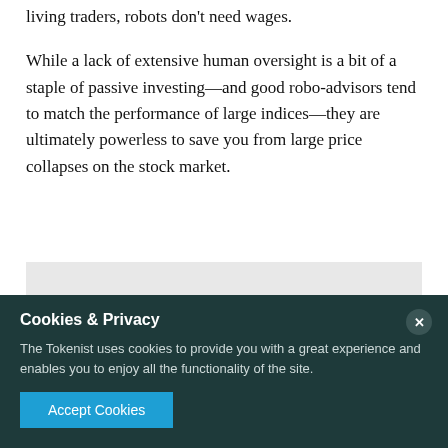living traders, robots don't need wages.
While a lack of extensive human oversight is a bit of a staple of passive investing—and good robo-advisors tend to match the performance of large indices—they are ultimately powerless to save you from large price collapses on the stock market.
[Figure (other): Gray placeholder box for an image or advertisement]
Cookies & Privacy
The Tokenist uses cookies to provide you with a great experience and enables you to enjoy all the functionality of the site.
Accept Cookies